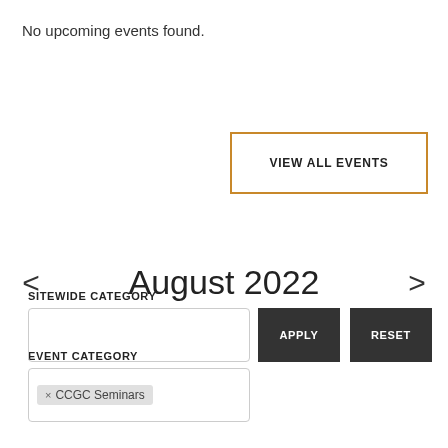No upcoming events found.
VIEW ALL EVENTS
< August 2022 >
EVENT CATEGORY
× CCGC Seminars
SITEWIDE CATEGORY
APPLY
RESET